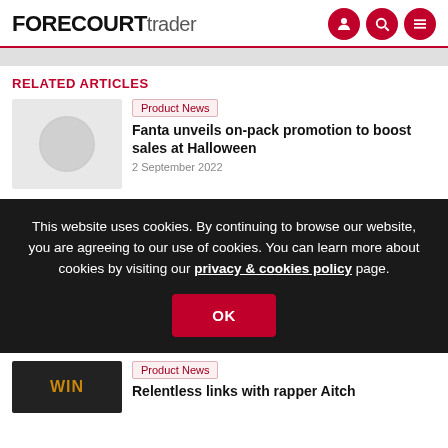FORECOURT trader
RELATED ARTICLES
[Figure (photo): Placeholder thumbnail image with circle icon]
Product News
Fanta unveils on-pack promotion to boost sales at Halloween
2 September 2022
This website uses cookies. By continuing to browse our website, you are agreeing to our use of cookies. You can learn more about cookies by visiting our privacy & cookies policy page.
[Figure (photo): Product image with WIN label visible]
Product News
Relentless links with rapper Aitch